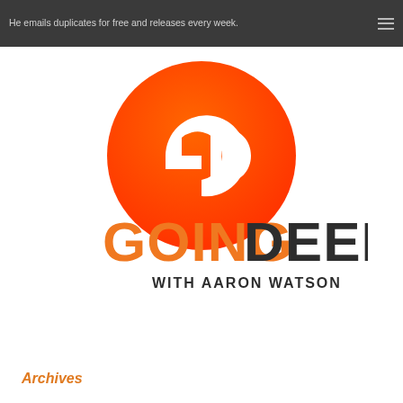He emails duplicates for free and releases every week.
[Figure (logo): Going Deep with Aaron Watson podcast logo. Orange-red gradient circle with white GD letters on top, then large bold text 'GOING' in orange and 'DEEP' in dark charcoal, with 'WITH AARON WATSON' in smaller text below.]
Archives